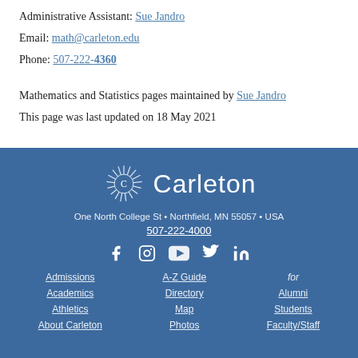Administrative Assistant: Sue Jandro
Email: math@carleton.edu
Phone: 507-222-4360
Mathematics and Statistics pages maintained by Sue Jandro
This page was last updated on 18 May 2021
[Figure (logo): Carleton College logo with sunburst C icon and wordmark 'Carleton']
One North College St • Northfield, MN 55057 • USA
507-222-4000
[Figure (illustration): Social media icons: Facebook, Instagram, YouTube, Twitter, LinkedIn]
Admissions
Academics
Athletics
About Carleton
A-Z Guide
Directory
Map
Photos
for
Alumni
Students
Faculty/Staff